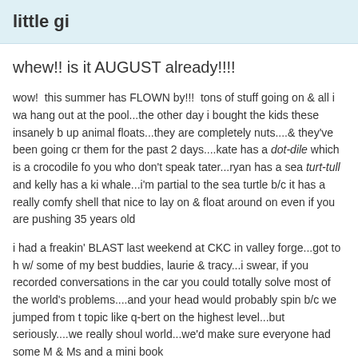little gi
whew!! is it AUGUST already!!!!
wow!  this summer has FLOWN by!!!  tons of stuff going on & all i wa hang out at the pool...the other day i bought the kids these insanely b up animal floats...they are completely nuts....& they've been going cr them for the past 2 days....kate has a dot-dile which is a crocodile fo you who don't speak tater...ryan has a sea turt-tull and kelly has a ki whale...i'm partial to the sea turtle b/c it has a really comfy shell that nice to lay on & float around on even if you are pushing 35 years old
i had a freakin' BLAST last weekend at CKC in valley forge...got to h w/ some of my best buddies, laurie & tracy...i swear, if you recorded conversations in the car you could totally solve most of the world's problems....and your head would probably spin b/c we jumped from t topic like q-bert on the highest level...but seriously....we really shoul world...we'd make sure everyone had some M & Ms and a mini book